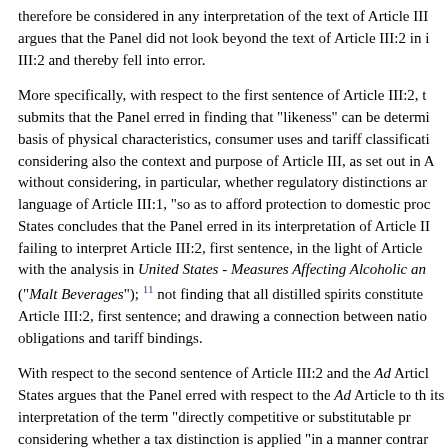therefore be considered in any interpretation of the text of Article III argues that the Panel did not look beyond the text of Article III:2 in i III:2 and thereby fell into error.
More specifically, with respect to the first sentence of Article III:2, t submits that the Panel erred in finding that "likeness" can be determi basis of physical characteristics, consumer uses and tariff classificati considering also the context and purpose of Article III, as set out in A without considering, in particular, whether regulatory distinctions ar language of Article III:1, "so as to afford protection to domestic proc States concludes that the Panel erred in its interpretation of Article II failing to interpret Article III:2, first sentence, in the light of Article with the analysis in United States - Measures Affecting Alcoholic and ("Malt Beverages"); 11 not finding that all distilled spirits constitute Article III:2, first sentence; and drawing a connection between natio obligations and tariff bindings.
With respect to the second sentence of Article III:2 and the Ad Articl States argues that the Panel erred with respect to the Ad Article to th its interpretation of the term "directly competitive or substitutable pr considering whether a tax distinction is applied "in a manner contrar forth in paragraph 1 of [Article III]", that is, "so as to afford protecti production". The United States also claims that the Panel erred by us elasticity as the "decisive criterion" for whether products are "directl substitutable".